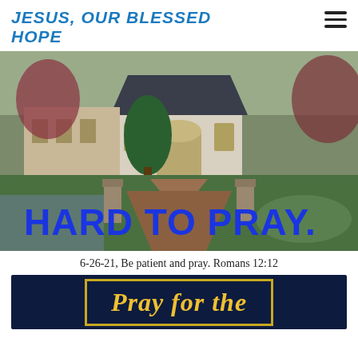JESUS, OUR BLESSED HOPE
[Figure (illustration): Painting of a church or chapel at the end of a winding path, surrounded by green trees and gardens, with stone pillars at the entrance. Large blue bold text overlay reads 'HARD TO PRAY.']
6-26-21, Be patient and pray. Romans 12:12
[Figure (illustration): Dark navy blue banner with gold decorative border and gold serif text reading 'Pray for the']